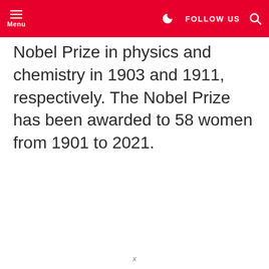Menu | FOLLOW US
Nobel Prize in physics and chemistry in 1903 and 1911, respectively. The Nobel Prize has been awarded to 58 women from 1901 to 2021.